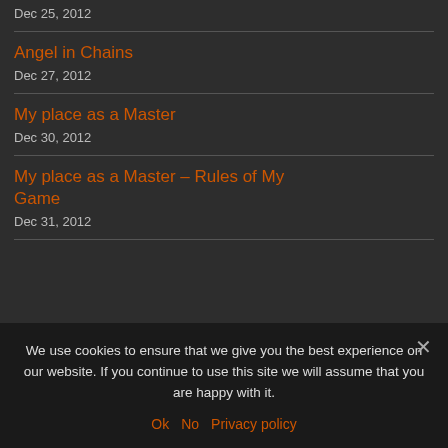Dec 25, 2012
Angel in Chains
Dec 27, 2012
My place as a Master
Dec 30, 2012
My place as a Master – Rules of My Game
Dec 31, 2012
We use cookies to ensure that we give you the best experience on our website. If you continue to use this site we will assume that you are happy with it.
Ok  No  Privacy policy